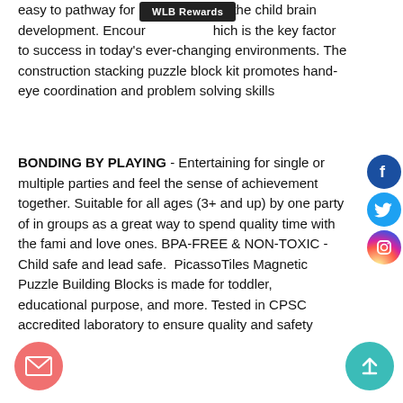easy to pathway for ... the child brain development. Encouraging ... which is the key factor to success in today's ever-changing environments. The construction stacking puzzle block kit promotes hand-eye coordination and problem solving skills
BONDING BY PLAYING - Entertaining for single or multiple parties and feel the sense of achievement together. Suitable for all ages (3+ and up) by one party of in groups as a great way to spend quality time with the family and love ones. BPA-FREE & NON-TOXIC - Child safe and lead safe. PicassoTiles Magnetic Puzzle Building Blocks is made for toddler, educational purpose, and more. Tested in CPSC accredited laboratory to ensure quality and safety
[Figure (other): WLB Rewards tooltip/popup overlay on text]
[Figure (other): Facebook, Twitter, Instagram social media circular icon buttons on right side]
[Figure (other): Email envelope floating button bottom left (pink/salmon circle)]
[Figure (other): Scroll-to-top arrow floating button bottom right (teal circle)]